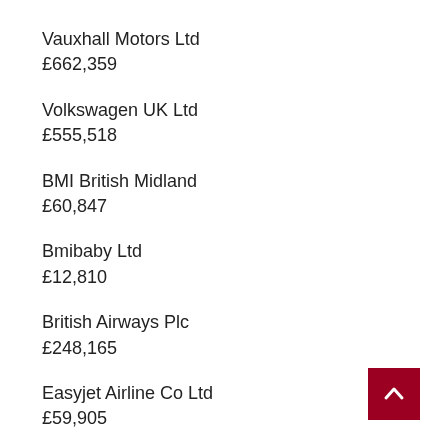Vauxhall Motors Ltd
£662,359
Volkswagen UK Ltd
£555,518
BMI British Midland
£60,847
Bmibaby Ltd
£12,810
British Airways Plc
£248,165
Easyjet Airline Co Ltd
£59,905
Monarch Airlines